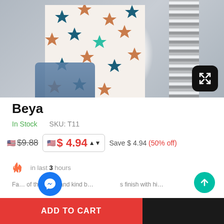[Figure (photo): Product photo of a floral star-print top with striped fabric panel, hanging on a rack against a light gray background. An expand/fullscreen button is shown in the bottom-right corner.]
Beya
In Stock    SKU: T11
$9.88  $ 4.94  Save $ 4.94  (50% off)
in last 3 hours
ADD TO CART